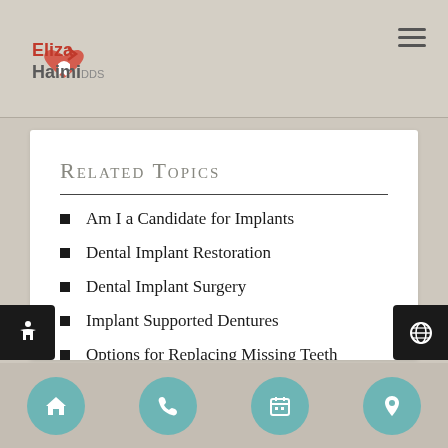Eliza Haimi DDS
Related Topics
Am I a Candidate for Implants
Dental Implant Restoration
Dental Implant Surgery
Implant Supported Dentures
Options for Replacing Missing Teeth
Post-Op Care for Dental Implants